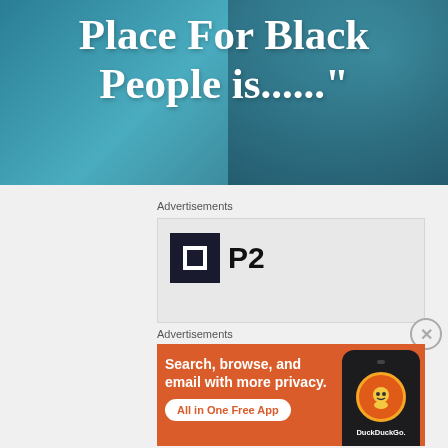[Figure (photo): Hero banner with teal/blue background and large white serif text reading 'Place For Black People is......"']
Advertisements
[Figure (logo): P2 logo: black square icon with white inner square and 'P2' text beside it on light gray background]
Advertisements
[Figure (screenshot): DuckDuckGo advertisement with orange background: 'Search, browse, and email with more privacy. All in One Free App' with phone graphic showing DuckDuckGo app]